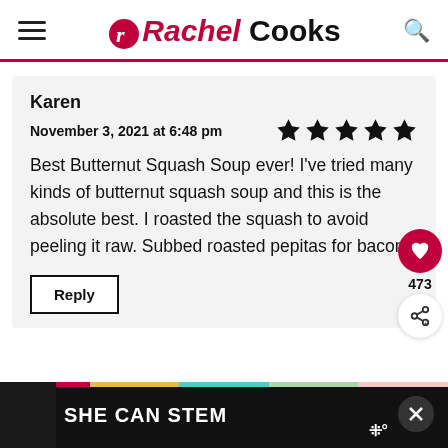Rachel Cooks
Karen
November 3, 2021 at 6:48 pm
★★★★★
Best Butternut Squash Soup ever! I've tried many kinds of butternut squash soup and this is the absolute best. I roasted the squash to avoid peeling it raw. Subbed roasted pepitas for bacon.
Reply
473
SHE CAN STEM